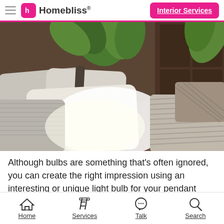Homebliss — Interior Services
[Figure (photo): Close-up photo of a bed with white and grey pillows and striped bedding, with green plants and a wooden wardrobe visible in the background.]
Although bulbs are something that's often ignored, you can create the right impression using an interesting or unique light bulb for your pendant lights. If you're looking for a
Home | Services | Talk | Search